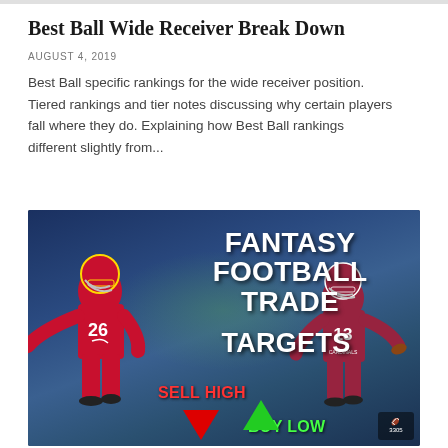Best Ball Wide Receiver Break Down
AUGUST 4, 2019
Best Ball specific rankings for the wide receiver position. Tiered rankings and tier notes discussing why certain players fall where they do. Explaining how Best Ball rankings different slightly from...
[Figure (photo): Fantasy Football Trade Targets promotional image showing two NFL players — a Kansas City Chiefs player (#26) on the left and an Arizona Cardinals player (#13) on the right — with text overlaid reading 'FANTASY FOOTBALL TRADE TARGETS', 'SELL HIGH' with a red down arrow, and 'BUY LOW' with a green up arrow. Stadium background visible.]